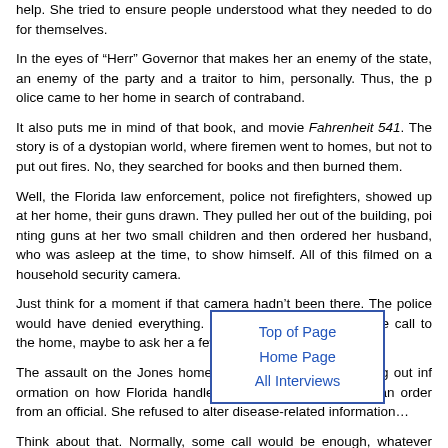help. She tried to ensure people understood what they needed to do for themselves.
In the eyes of “Herr” Governor that makes her an enemy of the state, an enemy of the party and a traitor to him, personally. Thus, the police came to her home in search of contraband.
It also puts me in mind of that book, and movie Fahrenheit 541. The story is of a dystopian world, where firemen went to homes, but not to put out fires. No, they searched for books and then burned them.
Well, the Florida law enforcement, police not firefighters, showed up at her home, their guns drawn. They pulled her out of the building, pointing guns at her two small children and then ordered her husband, who was asleep at the time, to show himself. All of this filmed on a household security camera.
Just think for a moment if that camera hadn’t been there. The police would have denied everything. It would have been a routine call to the home, maybe to ask her a few questions.
The assault on the Jones home came because of her giving out information on how Florida handled COVID-19. She refused an order from an official. She refused to alter disease-related information…
Top of Page
Home Page
All Interviews
Think about that. Normally, some call would be enough, whatever problems existed or simply asking her to come in and meet with people from the Health Department or some other agency that has jurisdiction over the issue. Even if what she did was a major crime, would the police…